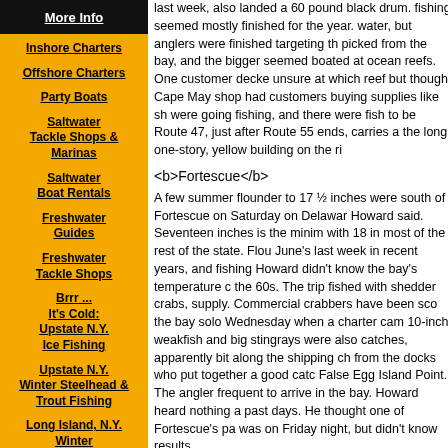More Info
Inshore Charters
Offshore Charters
Party Boats
Saltwater Tackle Shops & Marinas
Saltwater Boat Rentals
Freshwater Guides
Freshwater Tackle Shops
Brrr ... It's Cold: Upstate N.Y. Ice Fishing
Upstate N.Y. Winter Steelhead & Trout Fishing
Long Island, N.Y. Winter Cod & Wreck Fishing
last week, also landed a 60 pound black drum. fishing seemed mostly finished for the year. water, but anglers were finished targeting th picked from the bay, and the bigger seemed boated at ocean reefs. One customer decke unsure at which reef but thought Cape May shop had customers buying supplies like sh were going fishing, and there were fish to be Route 47, just after Route 55 ends, carries a the long, one-story, yellow building on the ri
Fortescue
A few summer flounder to 17 ½ inches were south of Fortescue on Saturday on Delawar Howard said. Seventeen inches is the minim with 18 in most of the rest of the state. Flou June's last week in recent years, and fishing Howard didn't know the bay's temperature c the 60s. The trip fished with shedder crabs, supply. Commercial crabbers have been sco the bay solo Wednesday when a charter ca 10-inch weakfish and big stingrays were als catches, apparently bit along the shipping ch from the docks who put together a good cat False Egg Island Point. The angler frequent to arrive in the bay. Howard heard nothing a past days. He thought one of Fortescue's p was on Friday night, but didn't know results.